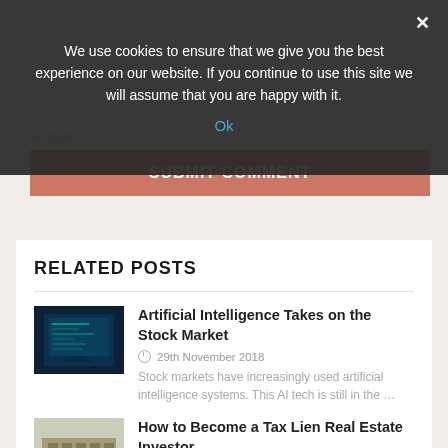We use cookies to ensure that we give you the best experience on our website. If you continue to use this site we will assume that you are happy with it.
Ok
SUBMIT COMMENT
RELATED POSTS
Artificial Intelligence Takes on the Stock Market
29th November 2018
Stock markets have increasingly used artificial intelligence systems. This AI tech is still in the …
How to Become a Tax Lien Real Estate Investor